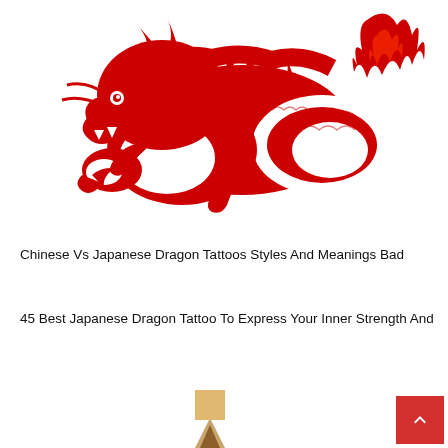[Figure (illustration): Red Chinese dragon illustration in paper-cut style, serpentine body with scales, claws, and flame tail, on white background]
Chinese Vs Japanese Dragon Tattoos Styles And Meanings Bad
45 Best Japanese Dragon Tattoo To Express Your Inner Strength And
[Figure (photo): Partial view of what appears to be a pencil or pointed wooden object at bottom center, with a red back-to-top button at bottom right]